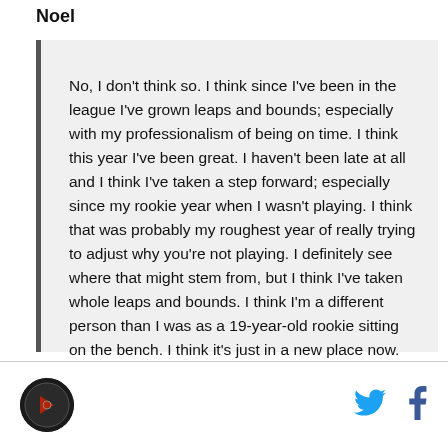Noel
No, I don't think so. I think since I've been in the league I've grown leaps and bounds; especially with my professionalism of being on time. I think this year I've been great. I haven't been late at all and I think I've taken a step forward; especially since my rookie year when I wasn't playing. I think that was probably my roughest year of really trying to adjust why you're not playing. I definitely see where that might stem from, but I think I've taken whole leaps and bounds. I think I'm a different person than I was as a 19-year-old rookie sitting on the bench. I think it's just in a new place now.
[Figure (logo): Circular dark logo with stylized graphic]
[Figure (logo): Twitter bird icon in blue]
[Figure (logo): Facebook f icon in dark blue]